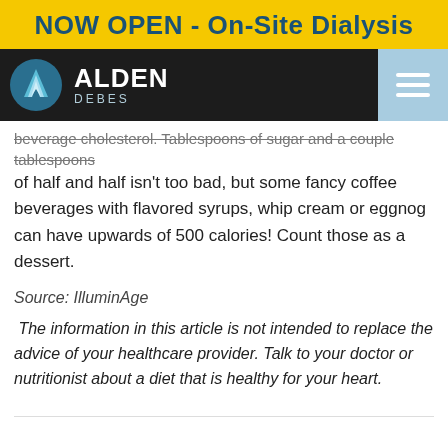NOW OPEN - On-Site Dialysis
[Figure (logo): Alden Debes logo with circular teal icon and white text on black navigation bar, with light blue hamburger menu icon on right]
beverage cholesterol. Tablespoons of sugar and a couple tablespoons of half and half isn't too bad, but some fancy coffee beverages with flavored syrups, whip cream or eggnog can have upwards of 500 calories! Count those as a dessert.
Source: IlluminAge
The information in this article is not intended to replace the advice of your healthcare provider. Talk to your doctor or nutritionist about a diet that is healthy for your heart.